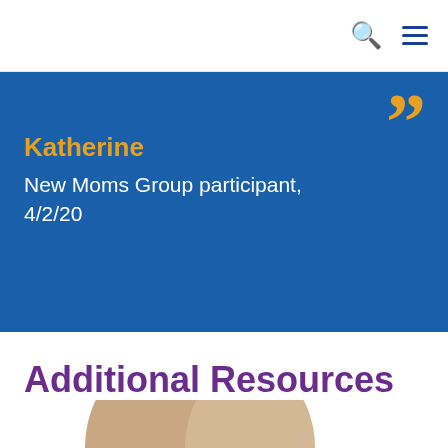JRI
Katherine
New Moms Group participant, 4/2/20
Additional Resources
[Figure (photo): Photo of a person (partially visible, head and shoulders) at the bottom of the page]